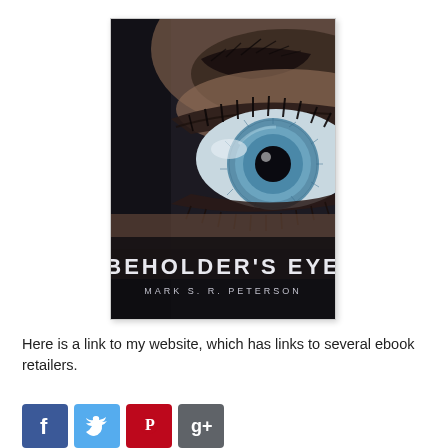[Figure (illustration): Book cover for 'Beholder's Eye' by Mark S. R. Peterson. Close-up photograph of a human eye with a vivid blue iris and dark pupil, with dark skin tones and eyelashes surrounding. Title text 'BEHOLDER'S EYE' in large white futuristic letters, author name 'MARK S. R. PETERSON' below in smaller white spaced letters.]
Here is a link to my website, which has links to several ebook retailers.
[Figure (infographic): Row of social media icons: Facebook (blue), Twitter (light blue), Pinterest (red), Google+ (gray).]